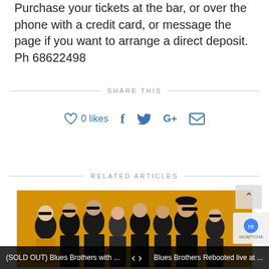Purchase your tickets at the bar, or over the phone with a credit card, or message the page if you want to arrange a direct deposit.
Ph 68622498
SHARE THIS
0 likes
RELATED ARTICLES
[Figure (photo): Group of people dressed in black suits and hats with sunglasses, posed against an orange background — Blues Brothers tribute band promotional photo.]
(SOLD OUT) Blues Brothers with ...   ‹ ›   Blues Brothers Rebooted live at ...